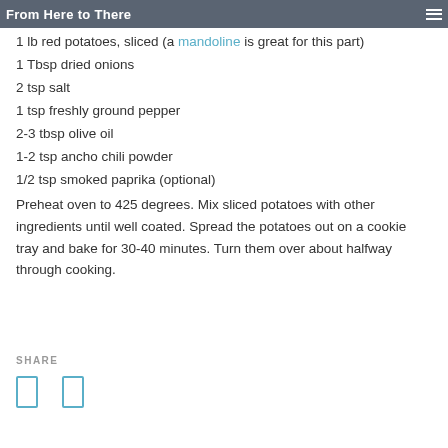From Here to There
1 lb red potatoes, sliced (a mandoline is great for this part)
1 Tbsp dried onions
2 tsp salt
1 tsp freshly ground pepper
2-3 tbsp olive oil
1-2 tsp ancho chili powder
1/2 tsp smoked paprika (optional)
Preheat oven to 425 degrees. Mix sliced potatoes with other ingredients until well coated. Spread the potatoes out on a cookie tray and bake for 30-40 minutes. Turn them over about halfway through cooking.
SHARE